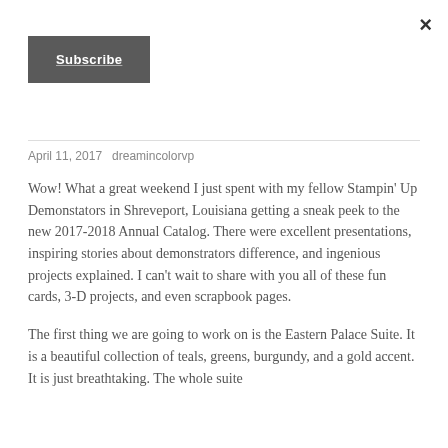×
Subscribe
April 11, 2017   dreamincolorvp
Wow!  What a great weekend I just spent with my fellow Stampin' Up Demonstators in Shreveport, Louisiana getting a sneak peek to the new 2017-2018 Annual Catalog.  There were excellent presentations, inspiring stories about demonstrators difference, and ingenious projects explained.  I can't wait to share with you all of these fun cards, 3-D projects, and even scrapbook pages.
The first thing we are going to work on is the Eastern Palace Suite.  It is a beautiful collection of teals, greens, burgundy, and a gold accent.  It is just breathtaking.  The whole suite